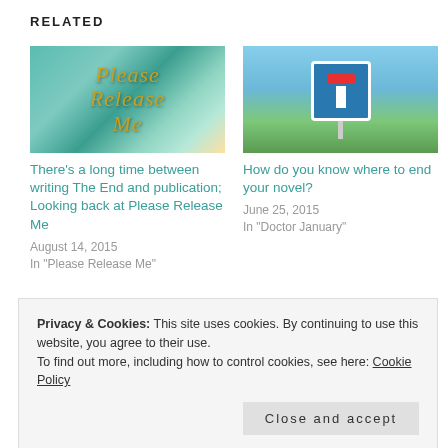RELATED
[Figure (photo): Book cover image with teal/green tones and gold script text reading 'Please Release Me']
There's a long time between writing The End and publication; Looking back at Please Release Me
August 14, 2015
In "Please Release Me"
[Figure (photo): Road sign photo showing a blue T-junction sign with red bar on top, against a sky background]
How do you know where to end your novel?
June 25, 2015
In "Doctor January"
[Figure (photo): Partial book cover image, cropped]
Privacy & Cookies: This site uses cookies. By continuing to use this website, you agree to their use.
To find out more, including how to control cookies, see here: Cookie Policy
Close and accept
Release Me comes